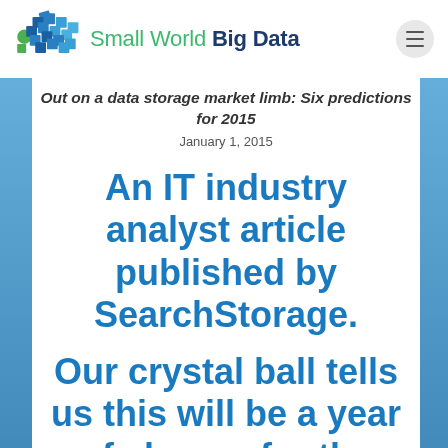Small World Big Data
Out on a data storage market limb: Six predictions for 2015
January 1, 2015
An IT industry analyst article published by SearchStorage.
Our crystal ball tells us this will be a year of change for the data